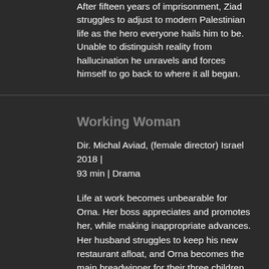After fifteen years of imprisonment, Ziad struggles to adjust to modern Palestinian life as the hero everyone hails him to be. Unable to distinguish reality from hallucination he unravels and forces himself to go back to where it all began.
Working Woman
Dir. Michal Aviad, (female director) Israel 2018 | 93 min | Drama
Life at work becomes unbearable for Orna. Her boss appreciates and promotes her, while making inappropriate advances. Her husband struggles to keep his new restaurant afloat, and Orna becomes the main breadwinner for their three children. When her world is finally shattered, she must pull herself together to fight, in her own way, for her job and a sense of self-worth.